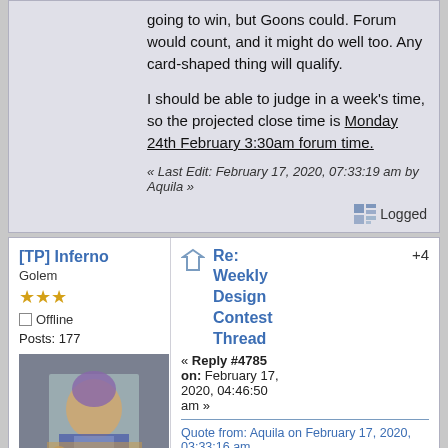going to win, but Goons could. Forum would count, and it might do well too. Any card-shaped thing will qualify.
I should be able to judge in a week's time, so the projected close time is Monday 24th February 3:30am forum time.
« Last Edit: February 17, 2020, 07:33:19 am by Aquila »
Logged
[TP] Inferno
Golem
★★★
Offline
Posts: 177
[Figure (photo): Avatar image of a person in costume]
I have no +Buys :(
Respect: +162
Re: Weekly Design Contest Thread
+4
« Reply #4785 on: February 17, 2020, 04:46:50 am »
Quote from: Aquila on February 17, 2020, 03:33:16 am
Terrific work and contest choice, naitchman. This got a lot more